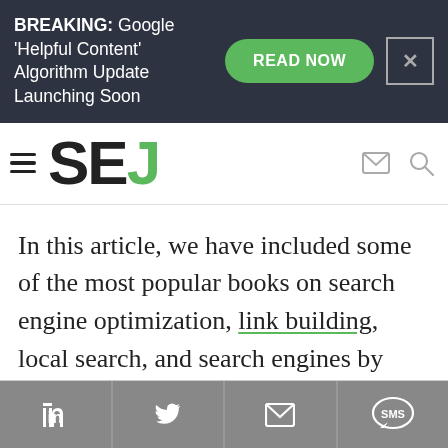BREAKING: Google 'Helpful Content' Algorithm Update Launching Soon
[Figure (logo): SEJ (Search Engine Journal) logo with hamburger menu icon]
In this article, we have included some of the most popular books on search engine optimization, link building, local search, and search engines by well-known SEO experts.